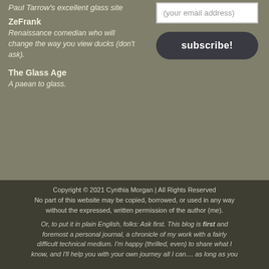Paul Tarrow's excellent glass site
ZeFrank
Renaissance comedian who will change the way you view ducks (don't ask).
The Glass Age
A paean to glass.
(your email address)
subscribe!
Copyright © 2021 Cynthia Morgan | All Rights Reserved
No part of this website may be copied, borrowed, or used in any way without the expressed, written permission of the author (me).

Or, to put it in plain English, folks: Ask first. This blog is first and foremost a personal journal, a chronicle of my work with a fairly difficult technical medium. I'm happy (thrilled, even) to share what I know, and I'll help you with your own journey all I can... as long as you